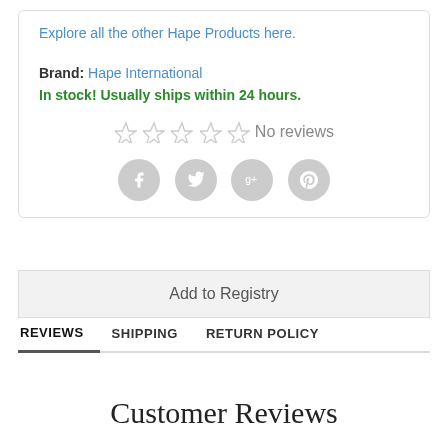Explore all the other Hape Products here.
Brand: Hape International
In stock! Usually ships within 24 hours.
[Figure (other): Five empty star rating icons followed by 'No reviews' text]
[Figure (other): Four circular social media icons: Facebook, Twitter, Google+, Pinterest]
Add to Registry
REVIEWS   SHIPPING   RETURN POLICY
Customer Reviews